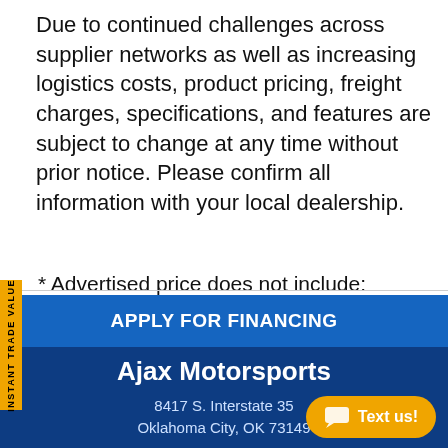Due to continued challenges across supplier networks as well as increasing logistics costs, product pricing, freight charges, specifications, and features are subject to change at any time without prior notice. Please confirm all information with your local dealership.
* Advertised price does not include: document fee, dealer freight charges, dealer preparation and assembly charges. Discounted prices are cash discounted prices and there may be additional charges if paying by a credit or debit card.
INSTANT TRADE VALUE
APPLY FOR FINANCING
Ajax Motorsports
8417 S. Interstate 35
Oklahoma City, OK 73149
Text us!